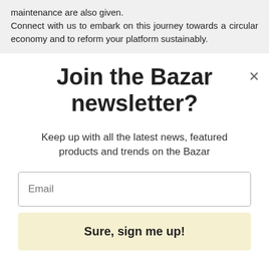maintenance are also given. Connect with us to embark on this journey towards a circular economy and to reform your platform sustainably.
Join the Bazar newsletter?
Keep up with all the latest news, featured products and trends on the Bazar
Email
Sure, sign me up!